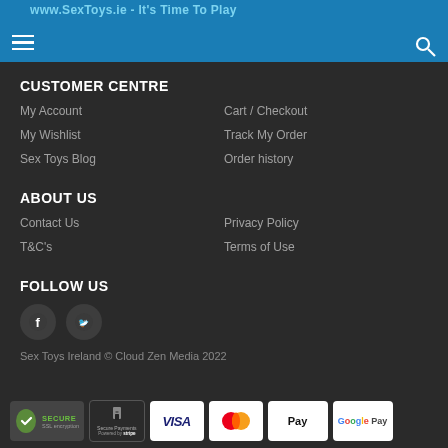www.SexToys.ie - It's Time To Play
CUSTOMER CENTRE
My Account
Cart / Checkout
My Wishlist
Track My Order
Sex Toys Blog
Order history
ABOUT US
Contact Us
Privacy Policy
T&C's
Terms of Use
FOLLOW US
[Figure (logo): Facebook and Twitter social media icons (dark circular buttons)]
Sex Toys Ireland © Cloud Zen Media 2022
[Figure (infographic): Payment badges: Secure SSL encryption, Secure Payments powered by Stripe, Visa, MasterCard, Apple Pay, Google Pay]